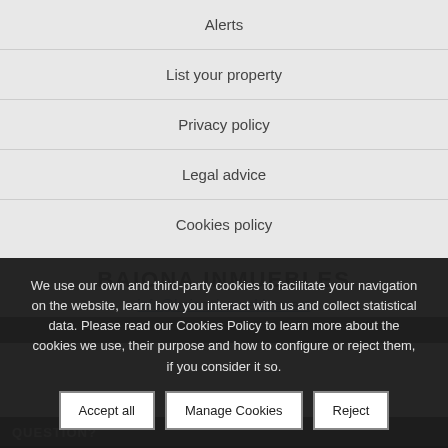Alerts
List your property
Privacy policy
Legal advice
Cookies policy
BAIONA INMUEBLES
info@baionainmuebles.com
We use our own and third-party cookies to facilitate your navigation on the website, learn how you interact with us and collect statistical data. Please read our Cookies Policy to learn more about the cookies we use, their purpose and how to configure or reject them, if you consider it so.
Accept all
Manage Cookies
Reject
QUESTION?